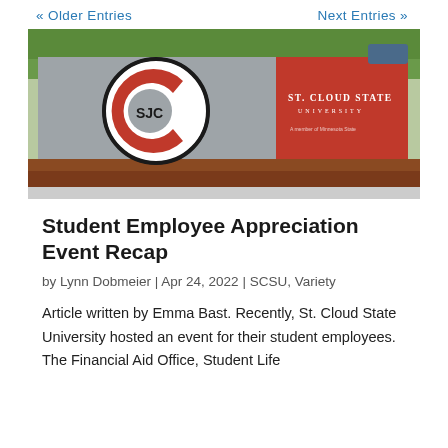« Older Entries    Next Entries »
[Figure (photo): St. Cloud State University outdoor sign with SCSU logo (red 'C' with 'SJC' letters) on gray background and red panel with text 'St. Cloud State University']
Student Employee Appreciation Event Recap
by Lynn Dobmeier | Apr 24, 2022 | SCSU, Variety
Article written by Emma Bast. Recently, St. Cloud State University hosted an event for their student employees. The Financial Aid Office, Student Life